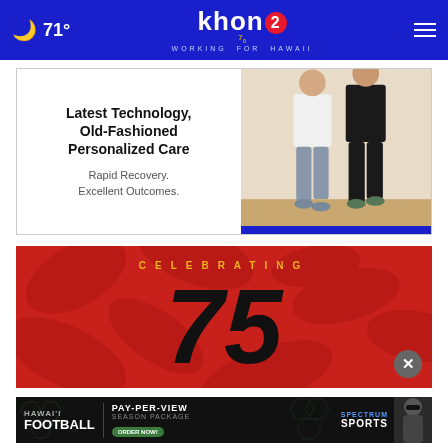KHON2 - Working for Hawaii | 71°
[Figure (photo): Medical advertisement: Latest Technology, Old-Fashioned Personalized Care. Rapid Recovery. Excellent Outcomes. With image of two people walking.]
[Figure (infographic): Celebrating 75 years advertisement on red background with tropical leaf pattern]
[Figure (infographic): Hawai'i Football Pay-Per-View Season Package - Order Now! Spectrum Sports advertisement with man in sunglasses]